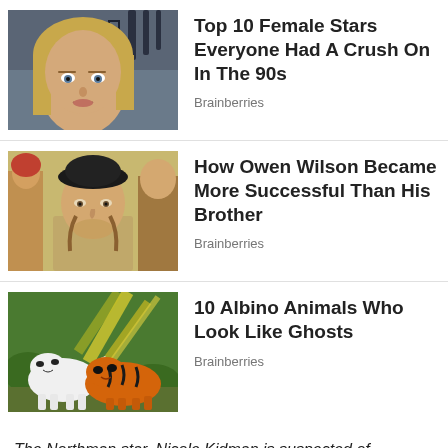[Figure (photo): Thumbnail photo of a blonde woman, possibly Sarah Michelle Gellar, from a TV show]
Top 10 Female Stars Everyone Had A Crush On In The 90s
Brainberries
[Figure (photo): Thumbnail photo of Owen Wilson wearing a black beret in a scene]
How Owen Wilson Became More Successful Than His Brother
Brainberries
[Figure (photo): Thumbnail photo of two tigers, one white albino and one orange, standing in a garden]
10 Albino Animals Who Look Like Ghosts
Brainberries
The Northman star, Nicole Kidman is suspected of undergoing multiple plastic surgery procedures. Fans believe the Being the Ricardos star's face has